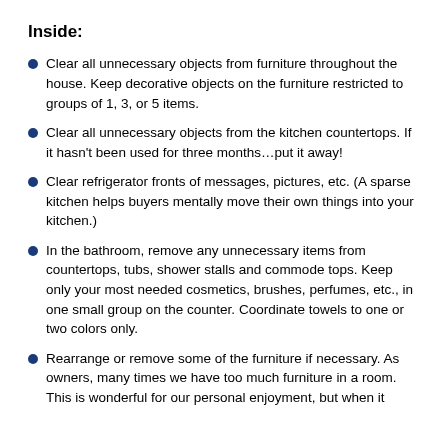Inside:
Clear all unnecessary objects from furniture throughout the house. Keep decorative objects on the furniture restricted to groups of 1, 3, or 5 items.
Clear all unnecessary objects from the kitchen countertops. If it hasn't been used for three months…put it away!
Clear refrigerator fronts of messages, pictures, etc. (A sparse kitchen helps buyers mentally move their own things into your kitchen.)
In the bathroom, remove any unnecessary items from countertops, tubs, shower stalls and commode tops. Keep only your most needed cosmetics, brushes, perfumes, etc., in one small group on the counter. Coordinate towels to one or two colors only.
Rearrange or remove some of the furniture if necessary. As owners, many times we have too much furniture in a room. This is wonderful for our personal enjoyment, but when it comes to selling you need to think about how much it...